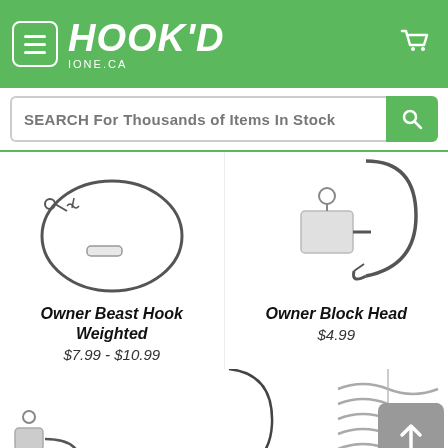HOOK'D IONE.CA
SEARCH For Thousands of Items In Stock
[Figure (photo): Owner Beast Hook Weighted fishing hook product photo]
Owner Beast Hook Weighted
$7.99 - $10.99
[Figure (photo): Owner Block Head jig head fishing hook product photo]
Owner Block Head
$4.99
[Figure (photo): Fishing hook product photo bottom left]
[Figure (photo): Fishing hook product photo bottom center]
[Figure (photo): Screw-in bait keeper spring fishing accessory photo]